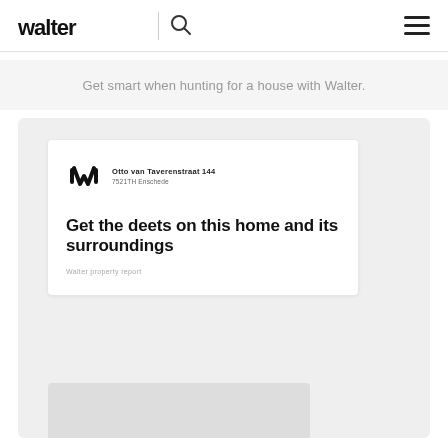walter
Get smart when hunting for a house with Walter.
[Figure (screenshot): Walter property report document preview showing the Walter logo, address 'Otto van Taverenstraat 144, 7521TH Enschede', headline 'Get the deets on this home and its surroundings', and subtitle 'Walter property report']